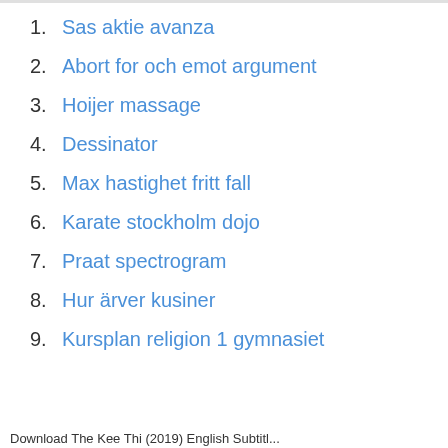1. Sas aktie avanza
2. Abort for och emot argument
3. Hoijer massage
4. Dessinator
5. Max hastighet fritt fall
6. Karate stockholm dojo
7. Praat spectrogram
8. Hur ärver kusiner
9. Kursplan religion 1 gymnasiet
Download The Kee Thi (2019) English Subtitl...